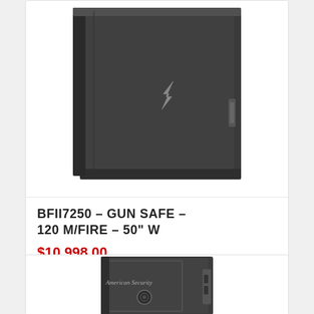[Figure (photo): A large dark gray gun safe with a brand logo on the front door, shown against a white background. The safe has a rectangular shape with a visible door handle area on the right side.]
BFII7250 – GUN SAFE – 120 M/FIRE – 50" W
$10,998.00
[Figure (photo): A dark gray gun safe with a textured finish, showing the front door with a brand script logo and a circular combination lock, and a keypad/handle on the right side of the door.]